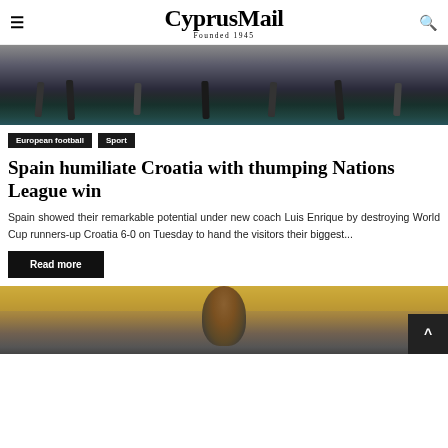CyprusMail — Founded 1945
[Figure (photo): Soccer/football match photo showing players' legs and feet during a match, crowd in background]
European football
Sport
Spain humiliate Croatia with thumping Nations League win
Spain showed their remarkable potential under new coach Luis Enrique by destroying World Cup runners-up Croatia 6-0 on Tuesday to hand the visitors their biggest...
Read more
[Figure (photo): Close-up photo of a soccer player in a blue jersey, with crowd in yellow/green in background]